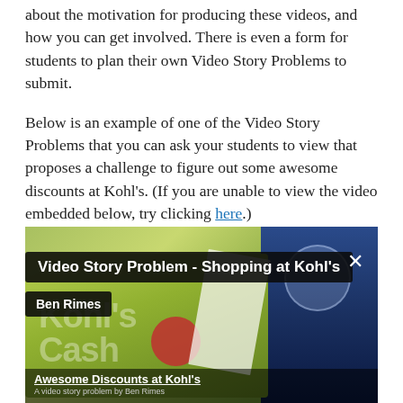about the motivation for producing these videos, and how you can get involved.  There is even a form for students to plan their own Video Story Problems to submit.
Below is an example of one of the Video Story Problems that you can ask your students to view that proposes a challenge to figure out some awesome discounts at Kohl's.  (If you are unable to view the video embedded below, try clicking here.)
[Figure (screenshot): Embedded video thumbnail titled 'Video Story Problem - Shopping at Kohl's' by Ben Rimes, showing Kohl's Cash cards and receipts. Bottom overlay reads 'Awesome Discounts at Kohl's'.]